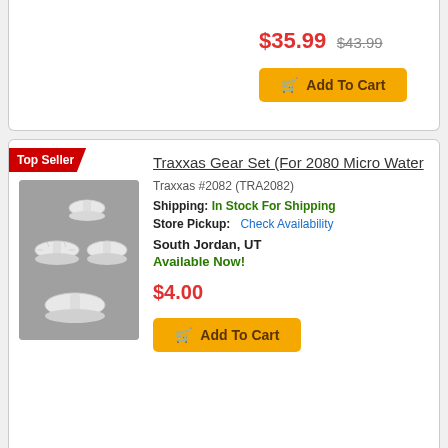$35.99 $43.99
Add To Cart
Traxxas Gear Set (For 2080 Micro Water
Traxxas #2082 (TRA2082)
Shipping: In Stock For Shipping
Store Pickup: Check Availability
South Jordan, UT
Available Now!
$4.00
Add To Cart
[Figure (photo): Four white plastic servo gears on a grey background]
Power Hobby Powerhobby 400Mg Waterproof High Torque